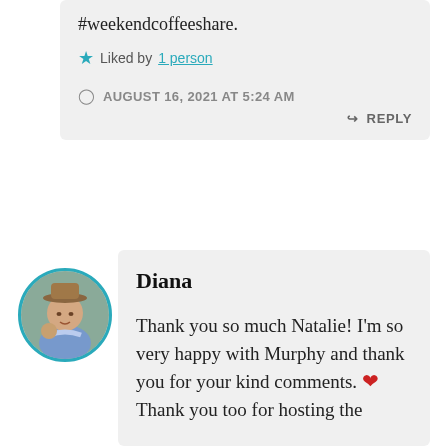#weekendcoffeeshare.
★ Liked by 1 person
AUGUST 16, 2021 AT 5:24 AM
↳ REPLY
[Figure (photo): Round avatar photo of Diana, a woman wearing a hat, with a teal circular border]
Diana
Thank you so much Natalie! I'm so very happy with Murphy and thank you for your kind comments. ❤ Thank you too for hosting the